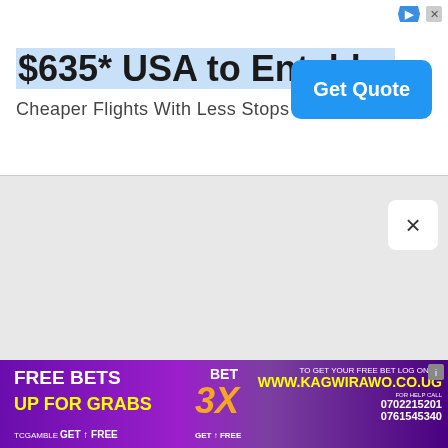[Figure (other): Online advertisement banner: '$635* USA to Entebbe - Cheaper Flights With Less Stops ASAP Tickets' with a blue 'Get Quote' button and AdChoices icon in top right corner.]
[Figure (other): Close/dismiss button (X) for the ad overlay, shown as a white rounded square with an X symbol.]
[Figure (other): Bottom advertisement banner for Kagwirawo betting: 'FREE BETS UP FOR GRABS - BET 3X - TO GET YOUR FREE BET LOG ONTO: WWW.KAGWIRAWO.CO.UG - FOR HELP CALL 0702215201 / 0761545340' on a purple gradient background with a person in white clothing.]